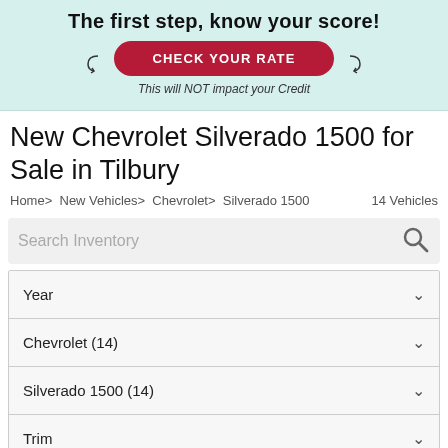[Figure (screenshot): Promotional banner with light teal background showing 'The first step, know your score!' heading, a red 'CHECK YOUR RATE' button, and italic text 'This will NOT impact your Credit']
New Chevrolet Silverado 1500 for Sale in Tilbury
Home> New Vehicles> Chevrolet> Silverado 1500    14 Vehicles
Search Inventory
Year
Chevrolet (14)
Silverado 1500 (14)
Trim
Body Style